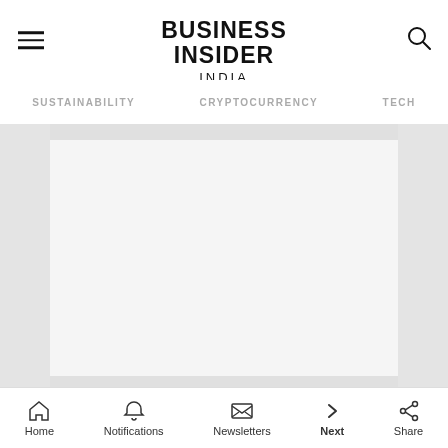BUSINESS INSIDER INDIA
SUSTAINABILITY   CRYPTOCURRENCY   TECH
[Figure (photo): Large image placeholder area with light gray background, flanked by slightly darker side panels]
One is an increased sense that political views are
Home   Notifications   Newsletters   Next   Share